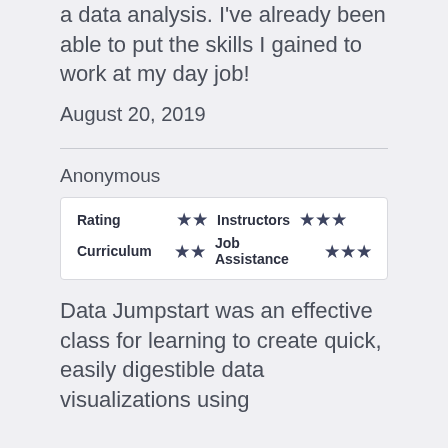a data analysis. I've already been able to put the skills I gained to work at my day job!
August 20, 2019
Anonymous
| Category | Stars | Category | Stars |
| --- | --- | --- | --- |
| Rating | ★★ | Instructors | ★★★ |
| Curriculum | ★★ | Job Assistance | ★★★ |
Data Jumpstart was an effective class for learning to create quick, easily digestible data visualizations using